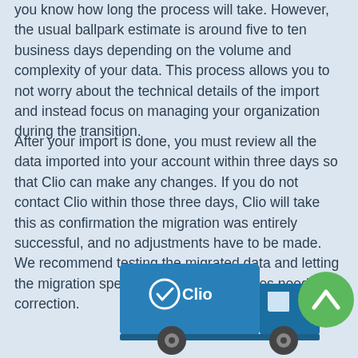you know how long the process will take. However, the usual ballpark estimate is around five to ten business days depending on the volume and complexity of your data. This process allows you to not worry about the technical details of the import and instead focus on managing your organization during the transition.
After your import is done, you must review all the data imported into your account within three days so that Clio can make any changes. If you do not contact Clio within those three days, Clio will take this as confirmation the migration was entirely successful, and no adjustments have to be made. We recommend testing the migrated data and letting the migration specialist know if any issues need correction.
[Figure (illustration): A blue moving truck with the Clio logo and a checkmark on the side, along with a green circular button with an upward chevron arrow on the right side.]